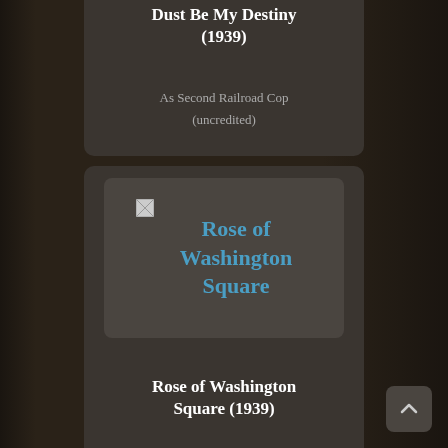Dust Be My Destiny (1939)
As Second Railroad Cop
(uncredited)
[Figure (illustration): Movie poster placeholder for Rose of Washington Square showing broken image icon and blue link text]
Rose of Washington Square (1939)
As Lieutenant
(uncredited)